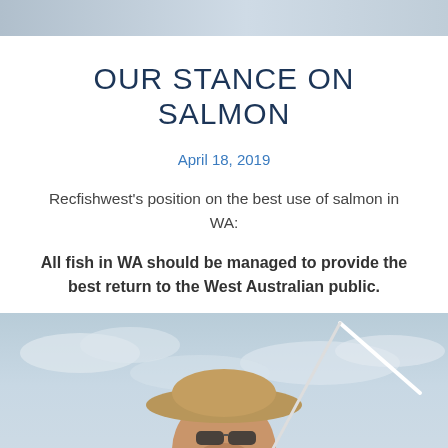[Figure (photo): Header banner image with a muted blue-grey background.]
OUR STANCE ON SALMON
April 18, 2019
Recfishwest's position on the best use of salmon in WA:
All fish in WA should be managed to provide the best return to the West Australian public.
[Figure (photo): A smiling man wearing a wide-brim hat and sunglasses, holding a fishing rod, outdoors with a cloudy sky background.]